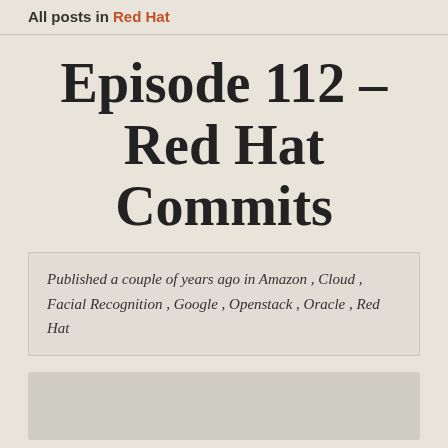All posts in Red Hat
Episode 112 – Red Hat Commits
Published a couple of years ago in Amazon , Cloud , Facial Recognition , Google , Openstack , Oracle , Red Hat
[Figure (photo): Partially visible image at the bottom of the page with light gray background]